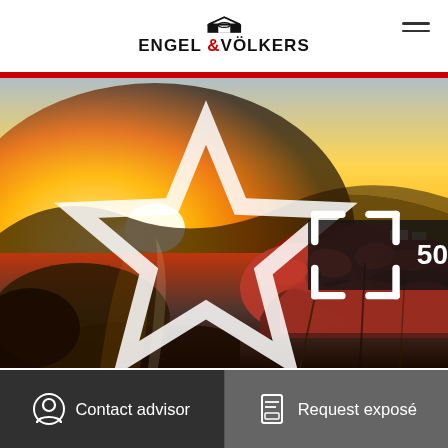[Figure (logo): Engel & Völkers logo with house icon and brand name]
[Figure (photo): Sunset landscape with red-leafed plants in foreground, golden sun setting behind hills]
50
Contact advisor
Request exposé